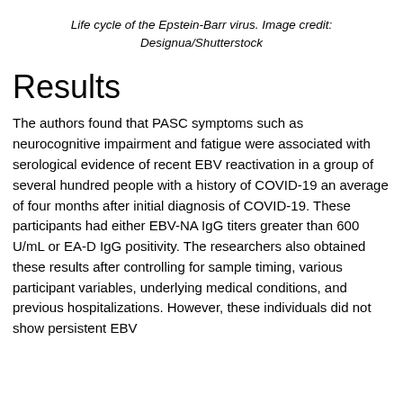Life cycle of the Epstein-Barr virus. Image credit: Designua/Shutterstock
Results
The authors found that PASC symptoms such as neurocognitive impairment and fatigue were associated with serological evidence of recent EBV reactivation in a group of several hundred people with a history of COVID-19 an average of four months after initial diagnosis of COVID-19. These participants had either EBV-NA IgG titers greater than 600 U/mL or EA-D IgG positivity. The researchers also obtained these results after controlling for sample timing, various participant variables, underlying medical conditions, and previous hospitalizations. However, these individuals did not show persistent EBV